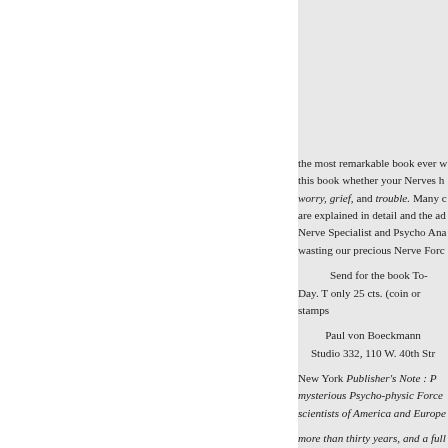the most remarkable book ever w this book whether your Nerves h worry, grief, and trouble. Many c are explained in detail and the ad Nerve Specialist and Psycho Ana wasting our precious Nerve Forc
Send for the book To-Day. T only 25 cts. (coin or stamps
Paul von Boeckmann Studio 332, 110 W. 40th Str
New York Publisher's Note : P mysterious Psycho-physic Force scientists of America and Europe more than thirty years, and a full
Varch and April issues of Phys
What Readers Say “I have gai book did more for me for indiges